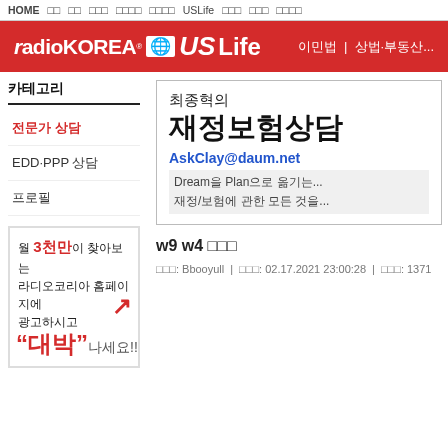HOME   □   □□   □□□   □□□□   □□□□   USLife   □□□   □□□   □□□□
[Figure (logo): RadioKOREA US Life red banner logo with navigation links 이민법 | 상법·부동산]
카테고리
전문가 상담
EDD·PPP 상담
프로필
[Figure (infographic): Advertisement: 월 3천만이 찾아보는 라디오코리아 홈페이지에 광고하시고 with upward red arrow and 대박 나세요!! text]
최종혁의 재정보험상담
AskClay@daum.net
Dream을 Plan으로 옮기는...
재정/보험에 관한 모든 것을...
w9 w4 □□□
□□□: Bbooyull   |   □□□: 02.17.2021 23:00:28   |   □□□: 1371